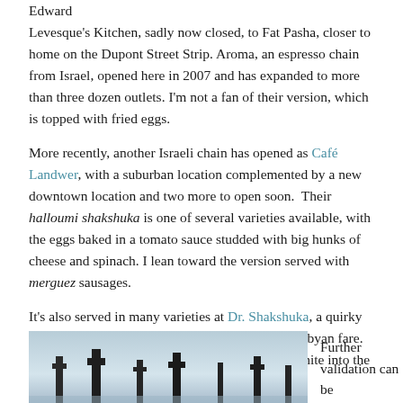Edward Levesque's Kitchen, sadly now closed, to Fat Pasha, closer to home on the Dupont Street Strip. Aroma, an espresso chain from Israel, opened here in 2007 and has expanded to more than three dozen outlets. I'm not a fan of their version, which is topped with fried eggs.
More recently, another Israeli chain has opened as Café Landwer, with a suburban location complemented by a new downtown location and two more to open soon. Their halloumi shakshuka is one of several varieties available, with the eggs baked in a tomato sauce studded with big hunks of cheese and spinach. I lean toward the version served with merguez sausages.
It's also served in many varieties at Dr. Shakshuka, a quirky restaurant in old Tel-Aviv, which offers Kosher Libyan fare. The good doctor adds paprika and stirs the egg white into the tomatoes, without breaking the yolk.
[Figure (photo): Partial photo showing dark silhouettes against a light blue-grey background, visible at the bottom-left of the page.]
Further validation can be